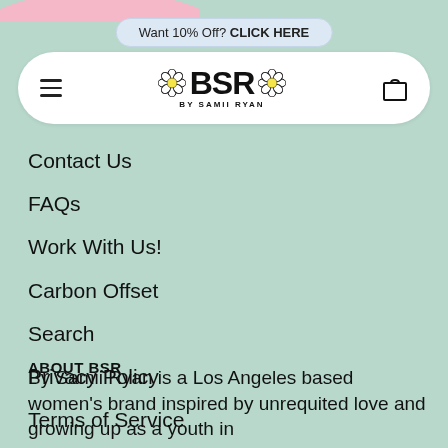Want 10% Off? CLICK HERE
[Figure (logo): BSR By Samii Ryan logo with daisy flowers on either side, inside a white rounded navigation bar with hamburger menu and shopping bag icon]
Contact Us
FAQs
Work With Us!
Carbon Offset
Search
Privacy Policy
Terms of Service
ABOUT BSR
By Samii Ryan is a Los Angeles based women's brand inspired by unrequited love and growing up as a youth in